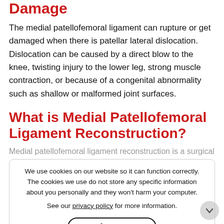Damage
The medial patellofemoral ligament can rupture or get damaged when there is patellar lateral dislocation. Dislocation can be caused by a direct blow to the knee, twisting injury to the lower leg, strong muscle contraction, or because of a congenital abnormality such as shallow or malformed joint surfaces.
What is Medial Patellofemoral Ligament Reconstruction?
Medial patellofemoral ligament reconstruction is a surgical procedure indicated for severe patellar instability.
Medial patellofemoral ligament reconstruction is performed by following the basic principles of ligament reconstruction such as:
We use cookies on our website so it can function correctly. The cookies we use do not store any specific information about you personally and they won’t harm your computer.

See our privacy policy for more information.

Accept